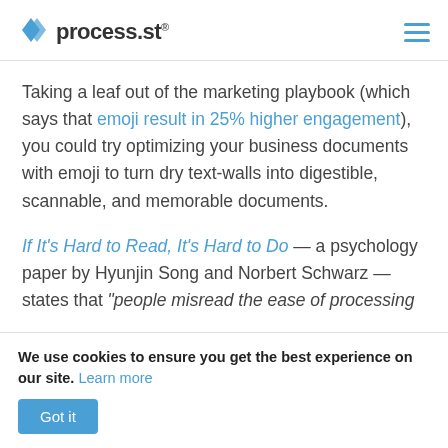process.st
Taking a leaf out of the marketing playbook (which says that emoji result in 25% higher engagement), you could try optimizing your business documents with emoji to turn dry text-walls into digestible, scannable, and memorable documents.
If It's Hard to Read, It's Hard to Do — a psychology paper by Hyunjin Song and Norbert Schwarz — states that "people misread the ease of processing
We use cookies to ensure you get the best experience on our site. Learn more